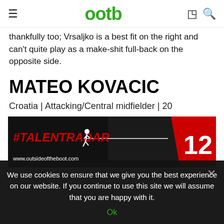ootb
thankfully too; Vrsaljko is a best fit on the right and can't quite play as a make-shit full-back on the opposite side.
MATEO KOVACIC
Croatia | Attacking/Central midfielder | 20
[Figure (other): #TALENTRADAR banner image with number 12, www.outsideoftheboot.com, dark background with player photo]
We use cookies to ensure that we give you the best experience on our website. If you continue to use this site we will assume that you are happy with it.